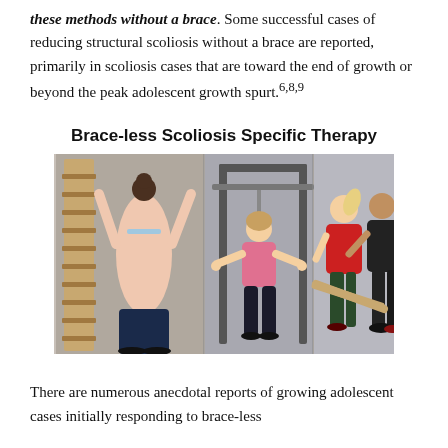these methods without a brace. Some successful cases of reducing structural scoliosis without a brace are reported, primarily in scoliosis cases that are toward the end of growth or beyond the peak adolescent growth spurt.6,8,9
[Figure (photo): Three-panel photograph titled 'Brace-less Scoliosis Specific Therapy' showing patients performing scoliosis therapy exercises: left panel shows a person doing wall ladder exercises seen from behind, center panel shows a patient using a specialized therapy machine, right panel shows a patient working with a therapist using a wooden bar apparatus.]
There are numerous anecdotal reports of growing adolescent cases initially responding to brace-less